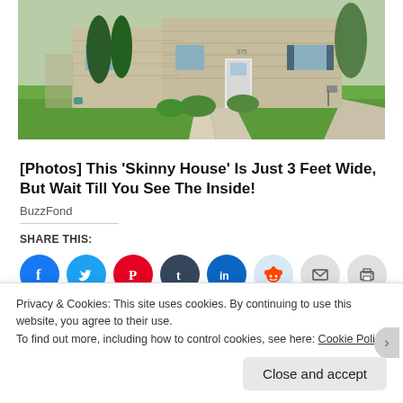[Figure (photo): Exterior photo of a suburban house with beige/tan siding, green lawn, shrubs, and a concrete walkway leading to the front door]
[Photos] This 'Skinny House' Is Just 3 Feet Wide, But Wait Till You See The Inside!
BuzzFond
SHARE THIS:
[Figure (infographic): Row of social media share buttons: Facebook (blue), Twitter (light blue), Pinterest (red), Tumblr (dark navy), LinkedIn (blue), Reddit (light blue), Email (grey), Print (grey)]
[Figure (infographic): Like button with star icon and row of 7 blogger avatar profile photos]
7 bloggers like this.
Privacy & Cookies: This site uses cookies. By continuing to use this website, you agree to their use.
To find out more, including how to control cookies, see here: Cookie Policy
Close and accept